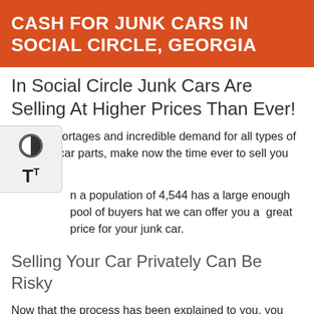CASH FOR JUNK CARS IN SOCIAL CIRCLE, GEORGIA
In Social Circle Junk Cars Are Selling At Higher Prices Than Ever!
Supply shortages and incredible demand for all types of cars and car parts, make now the time ever to sell you junk car.
...a population of 4,544 has a large enough pool of buyers that we can offer you a  great price for your junk car.
Selling Your Car Privately Can Be Risky
Now that the process has been explained to you, you think that it will be eas... r o... ; your car online has lots of risks associated ... it.